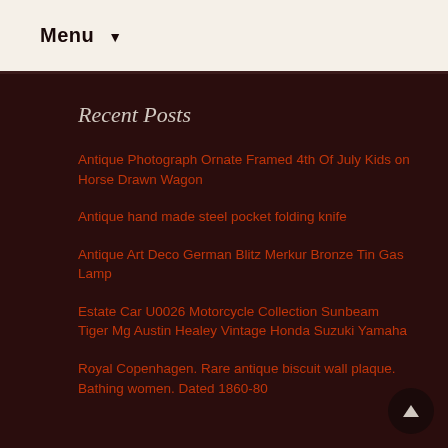Menu ▼
Recent Posts
Antique Photograph Ornate Framed 4th Of July Kids on Horse Drawn Wagon
Antique hand made steel pocket folding knife
Antique Art Deco German Blitz Merkur Bronze Tin Gas Lamp
Estate Car U0026 Motorcycle Collection Sunbeam Tiger Mg Austin Healey Vintage Honda Suzuki Yamaha
Royal Copenhagen. Rare antique biscuit wall plaque. Bathing women. Dated 1860-80